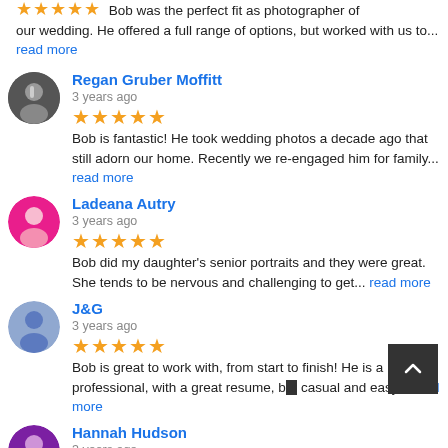Bob was the perfect fit as photographer of our wedding. He offered a full range of options, but worked with us to... read more
Regan Gruber Moffitt
3 years ago
Bob is fantastic! He took wedding photos a decade ago that still adorn our home. Recently we re-engaged him for family... read more
Ladeana Autry
3 years ago
Bob did my daughter's senior portraits and they were great. She tends to be nervous and challenging to get... read more
J&G
3 years ago
Bob is great to work with, from start to finish!  He is a professional, with a great resume, b... casual and easy... read more
Hannah Hudson
3 years ago